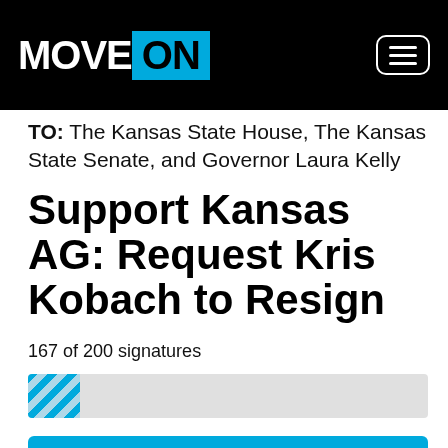MoveOn
TO: The Kansas State House, The Kansas State Senate, and Governor Laura Kelly
Support Kansas AG: Request Kris Kobach to Resign
167 of 200 signatures
[Figure (infographic): Progress bar showing 167 of 200 signatures, approximately 83.5% filled with a blue striped pattern]
SIGN